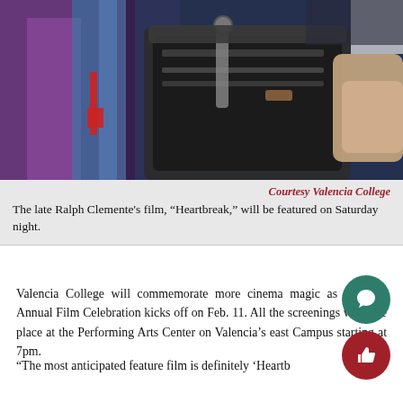[Figure (photo): Photo of a person holding open a dark messenger/camera bag with multiple compartments, colorful clothing visible in background, taken outdoors at night event]
Courtesy Valencia College
The late Ralph Clemente's film, “Heartbreak,” will be featured on Saturday night.
Valencia College will commemorate more cinema magic as the 21st Annual Film Celebration kicks off on Feb. 11. All the screenings will take place at the Performing Arts Center on Valencia’s east Campus starting at 7pm.
“The most anticipated feature film is definitely ‘Heartb… director of media relations for this year’s event Kara Br… said.
This particular screening will be emotional, as the director,